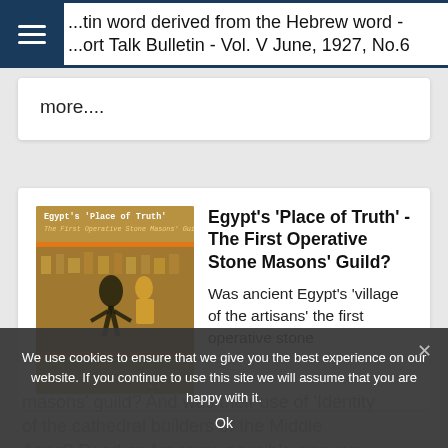...tin word derived from the Hebrew word - ...ort Talk Bulletin - Vol. V June, 1927, No.6
more....
[Figure (illustration): Book cover for Egypt's 'Place of Truth' - The First Operative Stone Masons' Guild?, showing Egyptian hieroglyphic art and decorative elements on a golden-brown background]
Egypt's 'Place of Truth' - The First Operative Stone Masons' Guild?
Was ancient Egypt's 'village of the artisans' the first operative stone masons' guild? And was their use of 'Identity ...of the cathedral builders of the Middle Ages? Read on for some possible answers...
We use cookies to ensure that we give you the best experience on our website. If you continue to use this site we will assume that you are happy with it.
Ok